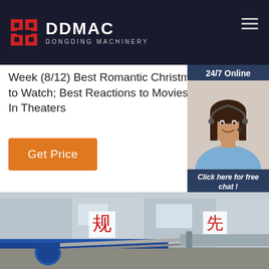DDMAC DONGDING MACHINERY
Week (8/12) Best Romantic Christmas Movies to Watch; Best Reactions to Movies Out Now In Theaters
Get Price
[Figure (photo): Customer service agent with headset, smiling. 24/7 Online panel with 'Click here for free chat!' and QUOTATION button.]
[Figure (photo): Factory interior showing industrial machinery with blue rollers and conveyor equipment; Chinese characters on wall signs.]